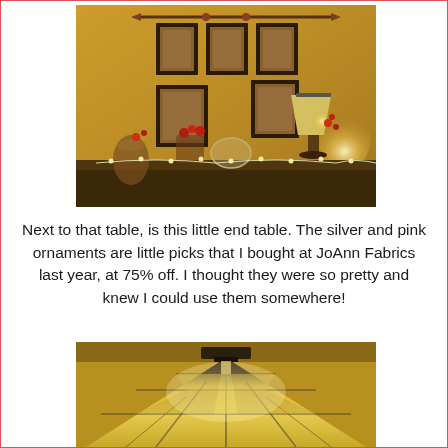[Figure (photo): A warm, dimly lit room showing a decorative table display with framed photos arranged on a yellow-orange wall, holiday ornaments, glass vases, and a small lamp glowing with warm light.]
Next to that table, is this little end table.  The silver and pink ornaments are little picks that I bought at JoAnn Fabrics last year, at 75% off.  I thought they were so pretty and knew I could use them somewhere!
[Figure (photo): Close-up of a Tiffany-style stained glass lamp shade lit from within, showing geometric patterns in yellow, amber, and cream tones.]